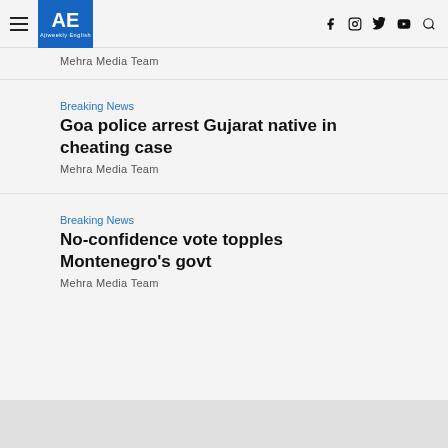AE Ajiweekly English — navigation bar with hamburger menu, logo, and social icons (f, instagram, twitter, youtube, search)
Mehra Media Team
Breaking News
Goa police arrest Gujarat native in cheating case
Mehra Media Team
Breaking News
No-confidence vote topples Montenegro's govt
Mehra Media Team